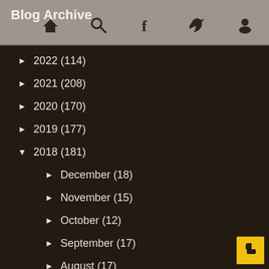Blog Archive
► 2022 (114)
► 2021 (208)
► 2020 (170)
► 2019 (177)
▼ 2018 (181)
► December (18)
► November (15)
► October (12)
► September (17)
► August (17)
► July (17)
► June (17)
► May (10)